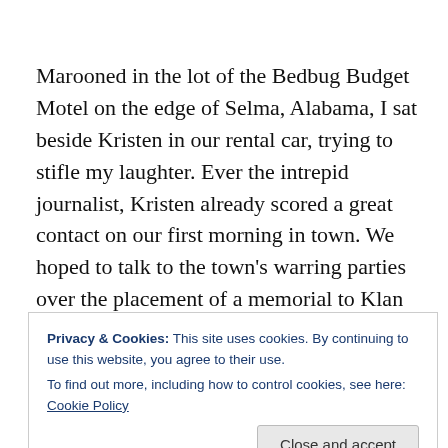Marooned in the lot of the Bedbug Budget Motel on the edge of Selma, Alabama, I sat beside Kristen in our rental car, trying to stifle my laughter. Ever the intrepid journalist, Kristen already scored a great contact on our first morning in town. We hoped to talk to the town's warring parties over the placement of a memorial to Klan founder and Confederate general Nathan Bedford Forrest, which had been beheaded.  Now Kristen captured one of the warriors on her smart phone!   I was laughing because Kristen was
Privacy & Cookies: This site uses cookies. By continuing to use this website, you agree to their use.
To find out more, including how to control cookies, see here: Cookie Policy
Close and accept
[Figure (photo): Partial view of a photo strip at the bottom of the page showing foliage]